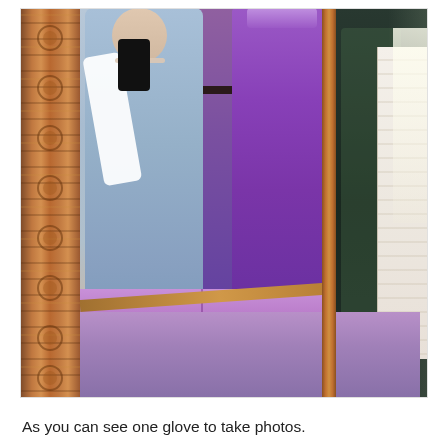[Figure (photo): Mirror selfie in a dress shop. A woman wearing a light blue long gown with white lace trim at the hem and long white gloves holds a smartphone to take a photo in an ornate gold/copper framed full-length mirror. In the background of the reflection, another person stands in a purple floor-length dress. To the right side of the frame, a second dark mirror panel and a white wedding dress are partially visible. The floor has purple lighting.]
As you can see one glove to take photos.